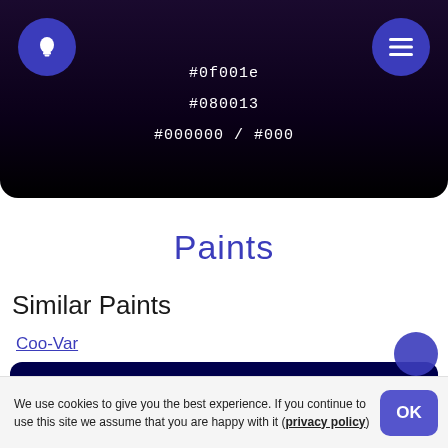[Figure (screenshot): Dark purple/black header bar with lightbulb icon button on left, menu icon button on right, and three hex color codes centered: #0f001e, #080013, #000000 / #000]
Paints
Similar Paints
Coo-Var
| ★  Steel Blue | #00004c | ΔE = 0.252 / LRV ≈ 0.6% |
We use cookies to give you the best experience. If you continue to use this site we assume that you are happy with it (privacy policy)